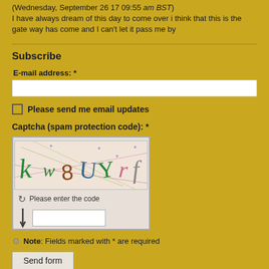(Wednesday, September 26 17 09:55 am BST) I have always dream of this day to come over i think that this is the gate way has come and I can't let it pass me by
Subscribe
E-mail address: *
Please send me email updates
Captcha (spam protection code): *
[Figure (other): CAPTCHA image showing distorted characters: kw8UYrf, with a refresh icon, 'Please enter the code' label, and an input field below]
Note: Fields marked with * are required
Send form